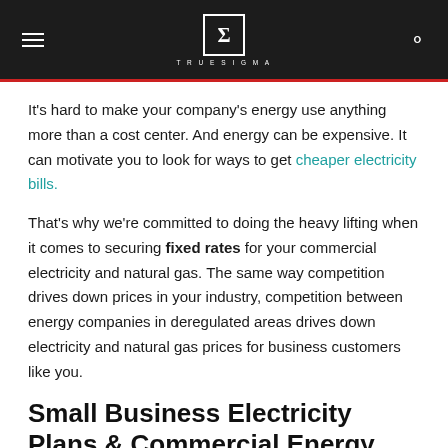TRUESIGMA
It's hard to make your company's energy use anything more than a cost center. And energy can be expensive. It can motivate you to look for ways to get cheaper electricity bills.
That's why we're committed to doing the heavy lifting when it comes to securing fixed rates for your commercial electricity and natural gas. The same way competition drives down prices in your industry, competition between energy companies in deregulated areas drives down electricity and natural gas prices for business customers like you.
Small Business Electricity Plans & Commercial Energy Rates
Explore Electricity Plans Available in Your State, FL HERE